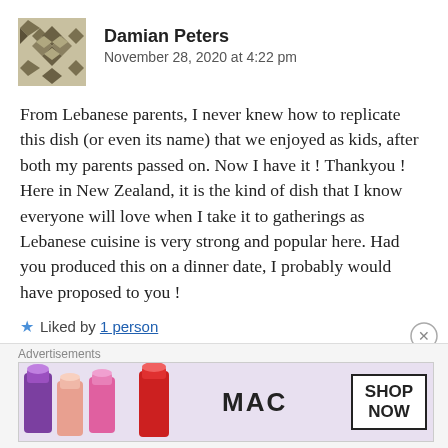[Figure (illustration): Decorative avatar icon — dark olive/khaki geometric diamond/cross pattern on light background]
Damian Peters
November 28, 2020 at 4:22 pm
From Lebanese parents, I never knew how to replicate this dish (or even its name) that we enjoyed as kids, after both my parents passed on. Now I have it ! Thankyou ! Here in New Zealand, it is the kind of dish that I know everyone will love when I take it to gatherings as Lebanese cuisine is very strong and popular here. Had you produced this on a dinner date, I probably would have proposed to you !
★ Liked by 1 person
[Figure (illustration): Close button (X in circle)]
Advertisements
[Figure (photo): MAC cosmetics advertisement banner showing lipsticks and MAC logo with SHOP NOW button]